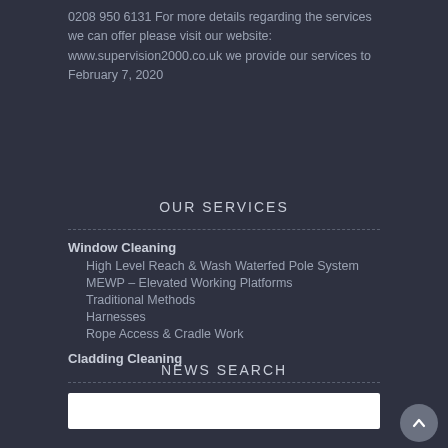0208 950 6131 For more details regarding the services we can offer please visit our website: www.supervision2000.co.uk we provide our services to February 7, 2020
OUR SERVICES
Window Cleaning
High Level Reach & Wash Waterfed Pole System
MEWP – Elevated Working Platforms
Traditional Methods
Harnesses
Rope Access & Cradle Work
Cladding Cleaning
NEWS SEARCH